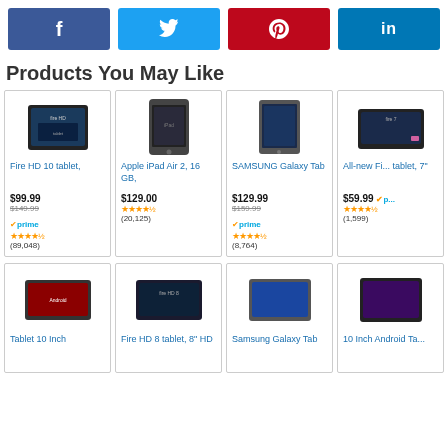[Figure (infographic): Social share buttons: Facebook (blue), Twitter (light blue), Pinterest (red), LinkedIn (dark blue)]
Products You May Like
[Figure (infographic): Fire HD 10 tablet product image]
Fire HD 10 tablet,
$99.99
$149.99
prime
★★★★½
(89,048)
[Figure (infographic): Apple iPad Air 2, 16 GB product image]
Apple iPad Air 2, 16 GB,
$129.00
★★★★½
(20,125)
[Figure (infographic): SAMSUNG Galaxy Tab product image]
SAMSUNG Galaxy Tab
$129.99
$159.99
prime
★★★★½
(8,764)
[Figure (infographic): All-new Fire tablet, 7" product image]
All-new Fire tablet, 7"
$59.99
prime
★★★★½
(1,599)
[Figure (infographic): Tablet 10 Inch product image]
Tablet 10 Inch
[Figure (infographic): Fire HD 8 tablet, 8" HD product image]
Fire HD 8 tablet, 8" HD
[Figure (infographic): Samsung Galaxy Tab product image]
Samsung Galaxy Tab
[Figure (infographic): 10 Inch Android Tab product image]
10 Inch Android Ta...